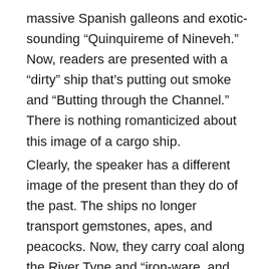massive Spanish galleons and exotic-sounding “Quinquireme of Nineveh.” Now, readers are presented with a “dirty” ship that’s putting out smoke and “Butting through the Channel.” There is nothing romanticized about this image of a cargo ship.
Clearly, the speaker has a different image of the present than they do of the past. The ships no longer transport gemstones, apes, and peacocks. Now, they carry coal along the River Tyne and “iron-ware, and cheap tin trays.” These unappealing items do not